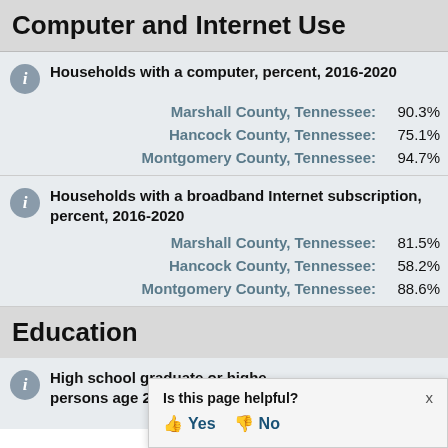Computer and Internet Use
Households with a computer, percent, 2016-2020
Marshall County, Tennessee: 90.3%
Hancock County, Tennessee: 75.1%
Montgomery County, Tennessee: 94.7%
Households with a broadband Internet subscription, percent, 2016-2020
Marshall County, Tennessee: 81.5%
Hancock County, Tennessee: 58.2%
Montgomery County, Tennessee: 88.6%
Education
High school graduate or higher, percent of persons age 25 years+, 2016-2020
Marshall County, Tennessee: